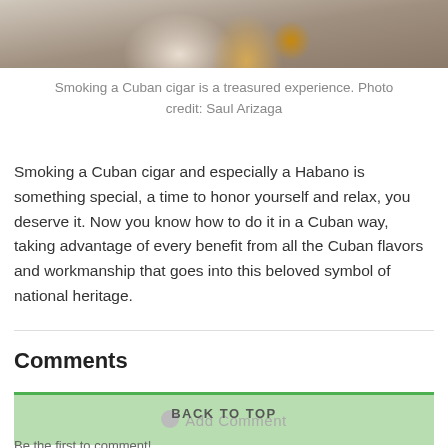[Figure (photo): Person holding a glass, partially cropped, showing a hand and a drink, likely rum with a Cuban cigar context]
Smoking a Cuban cigar is a treasured experience. Photo credit: Saul Arizaga
Smoking a Cuban cigar and especially a Habano is something special, a time to honor yourself and relax, you deserve it. Now you know how to do it in a Cuban way, taking advantage of every benefit from all the Cuban flavors and workmanship that goes into this beloved symbol of national heritage.
Comments
Add Comment
BACK TO TOP
Be the first to comment!